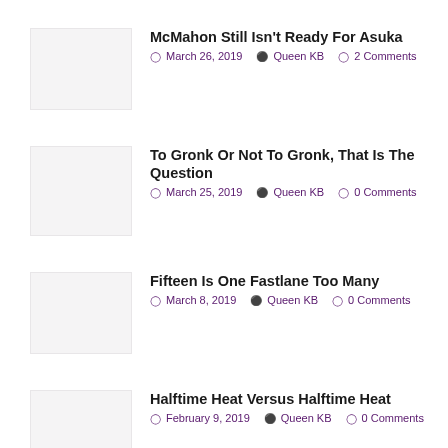McMahon Still Isn't Ready For Asuka
March 26, 2019  Queen KB  2 Comments
To Gronk Or Not To Gronk, That Is The Question
March 25, 2019  Queen KB  0 Comments
Fifteen Is One Fastlane Too Many
March 8, 2019  Queen KB  0 Comments
Halftime Heat Versus Halftime Heat
February 9, 2019  Queen KB  0 Comments